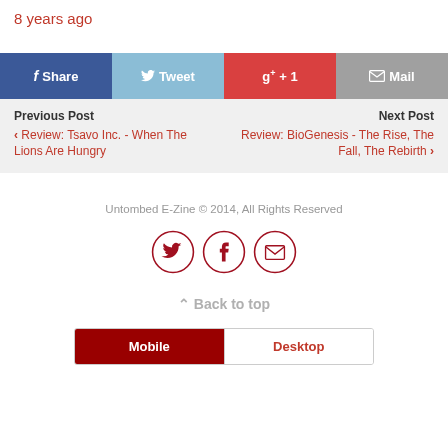8 years ago
[Figure (infographic): Social share buttons row: Facebook Share (dark blue), Twitter Tweet (light blue), Google+ +1 (red), Mail (gray)]
Previous Post
‹ Review: Tsavo Inc. - When The Lions Are Hungry
Next Post
Review: BioGenesis - The Rise, The Fall, The Rebirth ›
Untombed E-Zine © 2014, All Rights Reserved
[Figure (infographic): Three circular social icons: Twitter bird, Facebook f, envelope/mail]
⌃ Back to top
[Figure (infographic): Mobile/Desktop view toggle buttons: Mobile (dark red, selected) and Desktop (white with red text)]